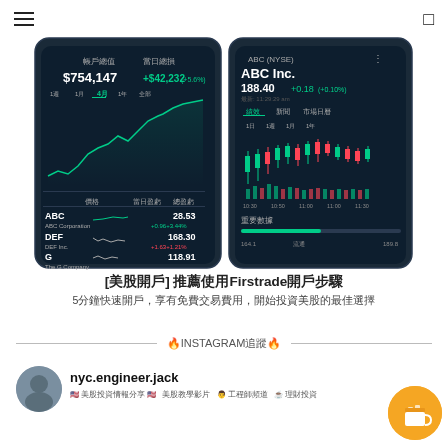≡   □
[Figure (screenshot): Two smartphone screenshots of a stock trading app (Firstrade). Left screen shows a portfolio with value $754,147 and daily gain +$42,232 (+5.6%), with a line chart and holdings: ABC 28.53, DEF 168.30, G 118.91. Right screen shows ABC (NYSE) stock at 188.40 +0.18 (+0.10%) with a candlestick/OHLC chart and volume bars labeled 重要數據.]
[美股開戶] 推薦使用Firstrade開戶步驟
5分鐘快速開戶，享有免費交易費用，開始投資美股的最佳選擇
追蹤INSTAGRAM帳號
nyc.engineer.jack
🇺🇸 美股投資 📊 科技股分析 👨‍💻 工程師理財